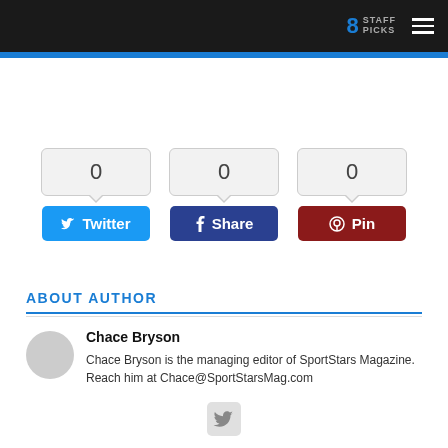8 STAFF PICKS
[Figure (screenshot): Social share buttons: Twitter (0), Share (0), Pin (0)]
ABOUT AUTHOR
Chace Bryson
Chace Bryson is the managing editor of SportStars Magazine. Reach him at Chace@SportStarsMag.com